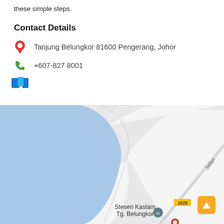these simple steps.
Contact Details
Tanjung Belungkor 81600 Pengerang, Johor
+607-827 8001
[Figure (map): Google Maps view of Tanjung Belungkor area showing coastline with blue water on the left and land on the right, with a road labeled 'Jalan' running diagonally, J225 route marker, and a pin for 'Stesen Kastam Tg. Belungkor'. An orange scroll-up button is visible in the bottom right corner.]